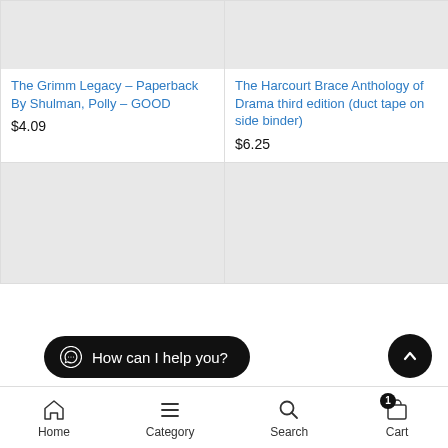The Grimm Legacy – Paperback By Shulman, Polly – GOOD
$4.09
The Harcourt Brace Anthology of Drama third edition (duct tape on side binder)
$6.25
[Figure (screenshot): Gray placeholder product image]
[Figure (screenshot): Gray placeholder product image]
How can I help you?
Home  Category  Search  Cart